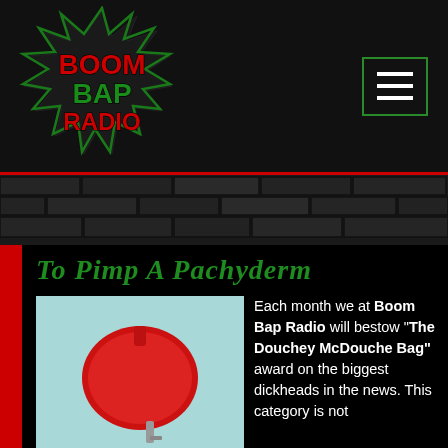[Figure (logo): Boom Bap Radio logo — graffiti style text in red and green with a starburst/explosion shape behind it]
[Figure (other): Hamburger menu icon (three horizontal lines) inside a green-bordered rectangle]
[Figure (photo): Photo of a red douche bag on a light blue background with text 'DOUCHE BAG' below it]
To Pimp A Pachyderm
Each month we at Boom Bap Radio will bestow "The Douchey McDouche Bag" award on the biggest dickheads in the news. This category is not limited to politicians or entertainers or even athletes, there's room for everyone on this bench.